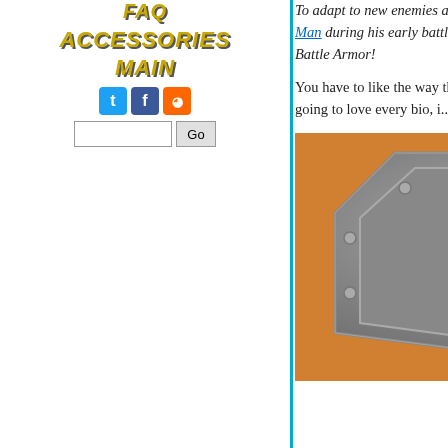FAQ
ACCESSORIES
MAIN
To adapt to new enemies and situations, Adam... the Elders is called upon by Adam and channel... Man during his early battles with Skeletor and... Battle Armor!
You have to like the way they worked the battle... unified history, tying together threads from all... while not all fans are going to love every bio, i...
[Figure (photo): Close-up photo of a metallic He-Man battle armor chest piece showing the iconic H-shaped cross symbol in orange/gold and brown on a silver metallic shield-shaped background with rivet details.]